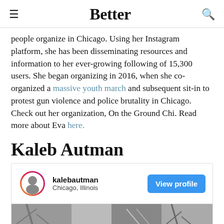Better
people organize in Chicago. Using her Instagram platform, she has been disseminating resources and information to her ever-growing following of 15,300 users. She began organizing in 2016, when she co-organized a massive youth march and subsequent sit-in to protest gun violence and police brutality in Chicago. Check out her organization, On the Ground Chi. Read more about Eva here.
Kaleb Autman
[Figure (infographic): Instagram profile card for kalebautman, located in Chicago, Illinois, with a View profile button and a partial black and white photo below.]